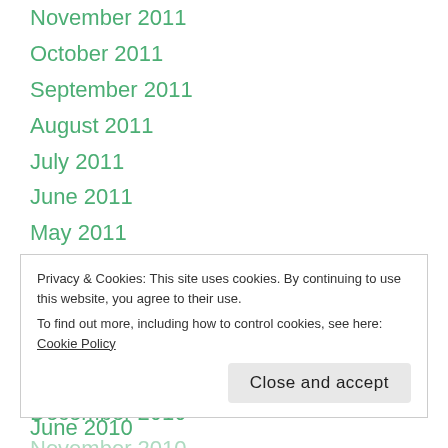November 2011
October 2011
September 2011
August 2011
July 2011
June 2011
May 2011
April 2011
March 2011
February 2011
January 2011
December 2010
November 2010
Privacy & Cookies: This site uses cookies. By continuing to use this website, you agree to their use. To find out more, including how to control cookies, see here: Cookie Policy
June 2010